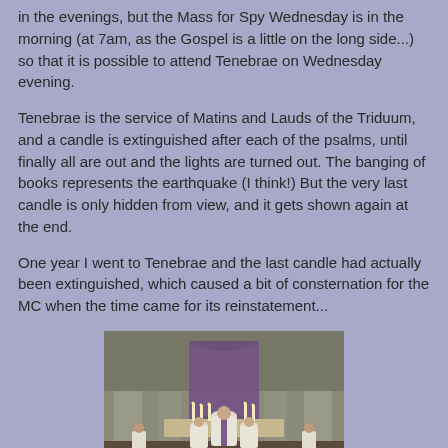in the evenings, but the Mass for Spy Wednesday is in the morning (at 7am, as the Gospel is a little on the long side...) so that it is possible to attend Tenebrae on Wednesday evening.
Tenebrae is the service of Matins and Lauds of the Triduum, and a candle is extinguished after each of the psalms, until finally all are out and the lights are turned out. The banging of books represents the earthquake (I think!) But the very last candle is only hidden from view, and it gets shown again at the end.
One year I went to Tenebrae and the last candle had actually been extinguished, which caused a bit of consternation for the MC when the time came for its reinstatement...
[Figure (photo): Photograph of a Catholic Mass or religious ceremony taken from behind, showing clergy in white and purple vestments at an altar with candles, large stone columns in the background.]